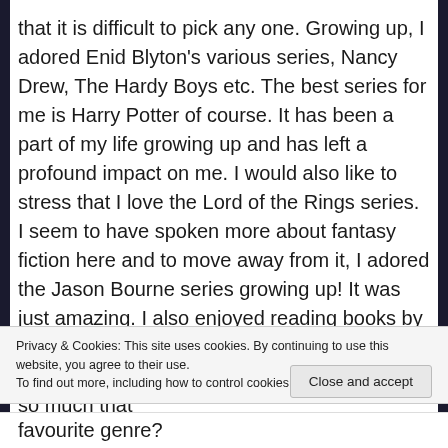that it is difficult to pick any one. Growing up, I adored Enid Blyton's various series, Nancy Drew, The Hardy Boys etc. The best series for me is Harry Potter of course. It has been a part of my life growing up and has left a profound impact on me. I would also like to stress that I love the Lord of the Rings series. I seem to have spoken more about fantasy fiction here and to move away from it, I adored the Jason Bourne series growing up! It was just amazing. I also enjoyed reading books by Jeffrey Archer, John Grisham, Kathy Reichs to name a few! Now however, I have diversified so much that
Privacy & Cookies: This site uses cookies. By continuing to use this website, you agree to their use.
To find out more, including how to control cookies, see here: Cookie Policy
Close and accept
favourite genre?